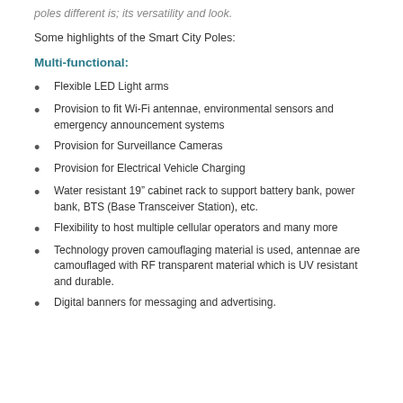poles different is; its versatility and look.
Some highlights of the Smart City Poles:
Multi-functional:
Flexible LED Light arms
Provision to fit Wi-Fi antennae, environmental sensors and emergency announcement systems
Provision for Surveillance Cameras
Provision for Electrical Vehicle Charging
Water resistant 19” cabinet rack to support battery bank, power bank, BTS (Base Transceiver Station), etc.
Flexibility to host multiple cellular operators and many more
Technology proven camouflaging material is used, antennae are camouflaged with RF transparent material which is UV resistant and durable.
Digital banners for messaging and advertising.